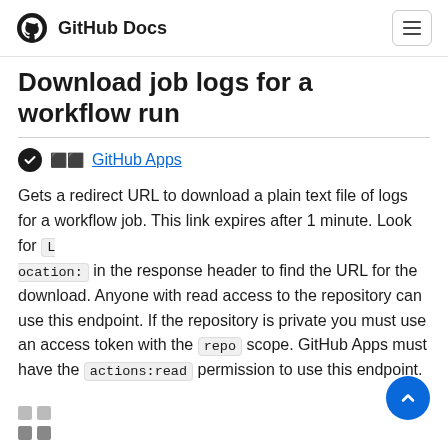GitHub Docs
Download job logs for a workflow run
GitHub Apps
Gets a redirect URL to download a plain text file of logs for a workflow job. This link expires after 1 minute. Look for Location: in the response header to find the URL for the download. Anyone with read access to the repository can use this endpoint. If the repository is private you must use an access token with the repo scope. GitHub Apps must have the actions:read permission to use this endpoint.